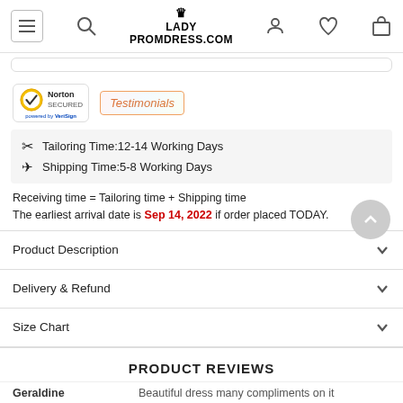LADY PROMDRESS.COM
[Figure (logo): Norton Secured powered by VeriSign badge]
[Figure (logo): Testimonials badge]
Tailoring Time:12-14 Working Days
Shipping Time:5-8 Working Days
Receiving time = Tailoring time + Shipping time
The earliest arrival date is Sep 14, 2022 if order placed TODAY.
Product Description
Delivery & Refund
Size Chart
PRODUCT REVIEWS
Geraldine
Beautiful dress many compliments on it